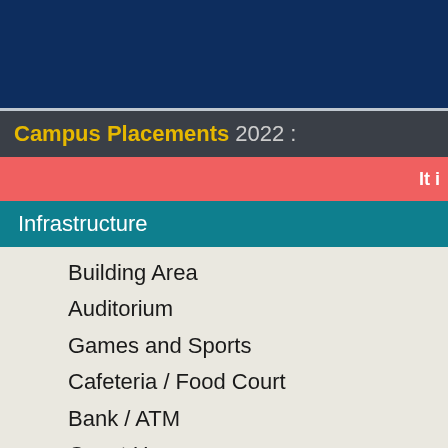Campus Placements 2022 :
It i
Infrastructure
Building Area
Auditorium
Games and Sports
Cafeteria / Food Court
Bank / ATM
Guest House
Gymnasium
Hostel & Dining
Green Initiative
Green Initiatives